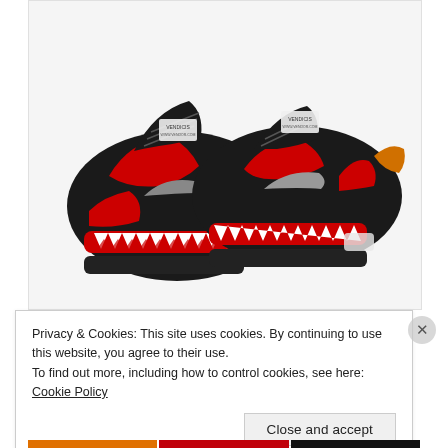[Figure (photo): A pair of custom Nike Air Max 90 sneakers with black, red, orange, and silver colorway. The midsole features a shark teeth design in white and red. The shoes have branding text on the tongue and collar.]
Privacy & Cookies: This site uses cookies. By continuing to use this website, you agree to their use.
To find out more, including how to control cookies, see here: Cookie Policy
Close and accept